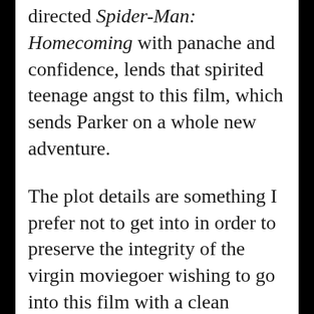directed Spider-Man: Homecoming with panache and confidence, lends that spirited teenage angst to this film, which sends Parker on a whole new adventure.
The plot details are something I prefer not to get into in order to preserve the integrity of the virgin moviegoer wishing to go into this film with a clean conscience. Let's just say Samuel L. Jackson's not-too-old for this stuff yet Nick Fury summons Parker for a mission, and the newly arrived Mysterio (Jake